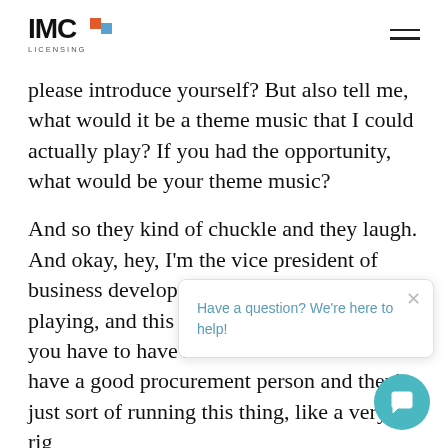IMC LICENSING
please introduce yourself? But also tell me, what would it be a theme music that I could actually play? If you had the opportunity, what would be your theme music?
And so they kind of chuckle and they laugh. And okay, hey, I'm the vice president of business development. And I w... playing, and this is w... you have to have it. ... have a good procurement person and they're just sort of running this thing, like a very rig... program, and there's just no personality to it, ... build that personality into it. You've got your...